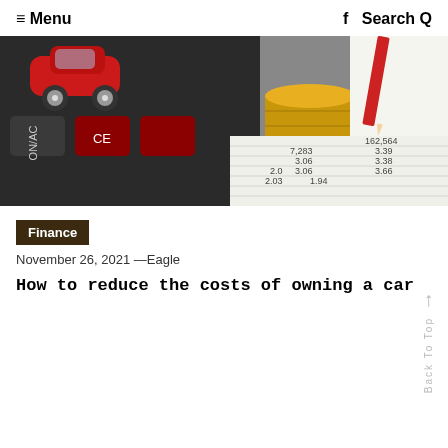≡ Menu   f  Search Q
[Figure (photo): Photo of a red toy car on a calculator, a stack of gold coins, and a red pencil on a financial spreadsheet with numbers visible.]
Finance
November 26, 2021 —Eagle
How to reduce the costs of owning a car